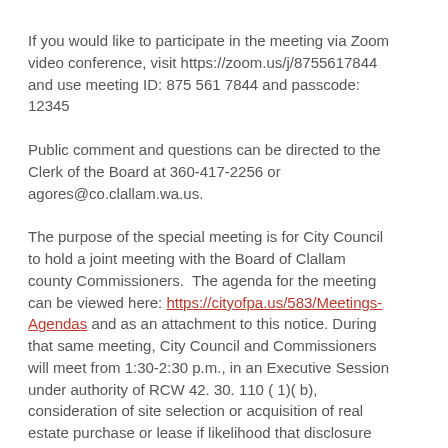If you would like to participate in the meeting via Zoom video conference, visit https://zoom.us/j/8755617844 and use meeting ID: 875 561 7844 and passcode: 12345
Public comment and questions can be directed to the Clerk of the Board at 360-417-2256 or agores@co.clallam.wa.us.
The purpose of the special meeting is for City Council to hold a joint meeting with the Board of Clallam county Commissioners. The agenda for the meeting can be viewed here: https://cityofpa.us/583/Meetings-Agendas and as an attachment to this notice. During that same meeting, City Council and Commissioners will meet from 1:30-2:30 p.m., in an Executive Session under authority of RCW 42. 30. 110 ( 1)( b), consideration of site selection or acquisition of real estate purchase or lease if likelihood that disclosure would increase price.
Kari Martinez-Bailey